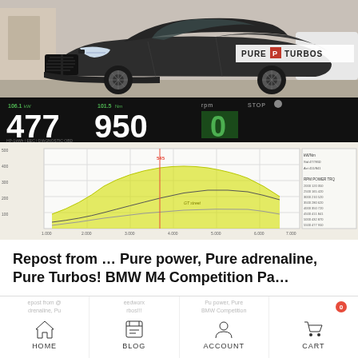[Figure (photo): Dark grey BMW M4 Competition car photographed from the front-side angle in a car park. Below is a dyno run screen showing 477 kW and 950 Nm readouts, RPM at 0, and a dyno chart graph with power and torque curves. Pure Turbos logo badge visible in top right.]
Repost from … Pure power, Pure adrenaline, Pure Turbos! BMW M4 Competition Pa…
HOME  BLOG  ACCOUNT  CART